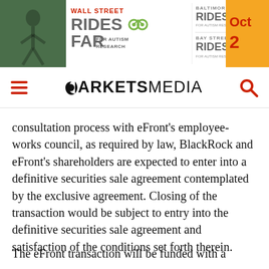[Figure (illustration): Wall Street Rides FAR for Autism Research banner advertisement with Baltimore Rides FAR and Bay Street Rides FAR sub-events, and an October 20 date on orange background]
MARKETS MEDIA — navigation bar with hamburger menu and search icon
consultation process with eFront's employee-works council, as required by law, BlackRock and eFront's shareholders are expected to enter into a definitive securities sale agreement contemplated by the exclusive agreement. Closing of the transaction would be subject to entry into the definitive securities sale agreement and satisfaction of the conditions set forth therein.
The eFront transaction will be funded with a